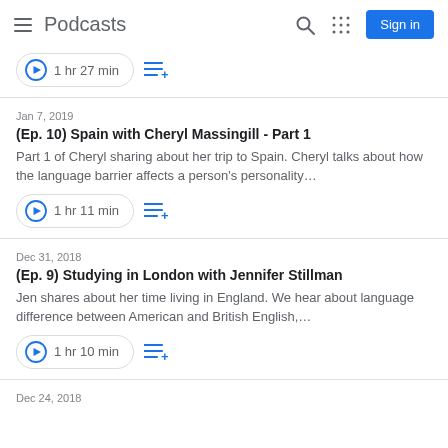Podcasts
1 hr 27 min
Jan 7, 2019
(Ep. 10) Spain with Cheryl Massingill - Part 1
Part 1 of Cheryl sharing about her trip to Spain. Cheryl talks about how the language barrier affects a person's personality…
1 hr 11 min
Dec 31, 2018
(Ep. 9) Studying in London with Jennifer Stillman
Jen shares about her time living in England. We hear about language difference between American and British English,…
1 hr 10 min
Dec 24, 2018